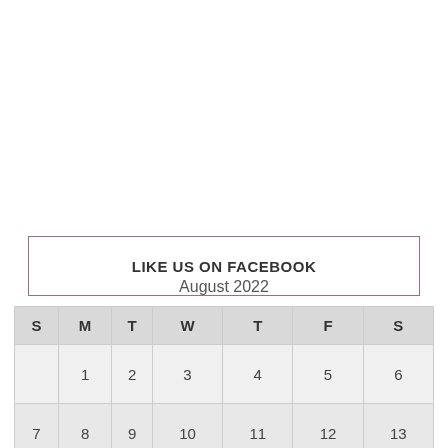LIKE US ON FACEBOOK
August 2022
| S | M | T | W | T | F | S |
| --- | --- | --- | --- | --- | --- | --- |
|  | 1 | 2 | 3 | 4 | 5 | 6 |
| 7 | 8 | 9 | 10 | 11 | 12 | 13 |